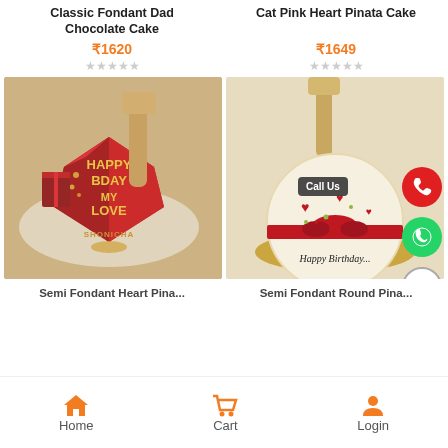Classic Fondant Dad Chocolate Cake
₹1620
Cat Pink Heart Pinata Cake
₹1649
[Figure (photo): Red heart-shaped diamond pinata cake with 'Happy Bday My Love' and 'Shonicha' text, with a wooden mallet]
[Figure (photo): White round birthday pinata cake with red ribbon and hearts, 'Happy Birthday' text, wooden mallet on top, with Call Us button overlay]
Semi Fondant Heart Pinata...
Semi Fondant Round Pina...
Home   Cart   Login